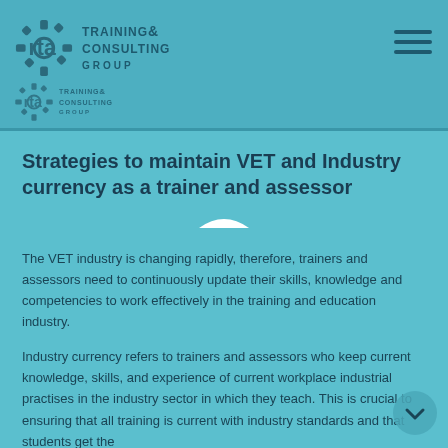[Figure (logo): RTA Training & Consulting Group logo — gear-and-letters icon with text TRAINING & CONSULTING GROUP]
[Figure (logo): RTA Training & Consulting Group secondary/smaller logo]
Strategies to maintain VET and Industry currency as a trainer and assessor
The VET industry is changing rapidly, therefore, trainers and assessors need to continuously update their skills, knowledge and competencies to work effectively in the training and education industry.
Industry currency refers to trainers and assessors who keep current knowledge, skills, and experience of current workplace industrial practises in the industry sector in which they teach. This is crucial to ensuring that all training is current with industry standards and that students get the